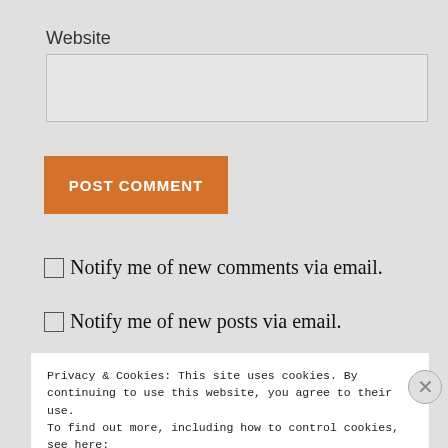Website
[Figure (screenshot): Website text input field (empty)]
[Figure (screenshot): POST COMMENT button (orange)]
Notify me of new comments via email.
Notify me of new posts via email.
Privacy & Cookies: This site uses cookies. By continuing to use this website, you agree to their use.
To find out more, including how to control cookies, see here:
Cookie Policy
Close and accept